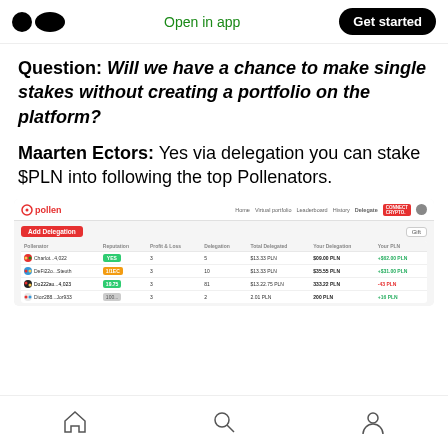Open in app | Get started
Question: Will we have a chance to make single stakes without creating a portfolio on the platform?
Maarten Ectors: Yes via delegation you can stake $PLN into following the top Pollenators.
[Figure (screenshot): Screenshot of the Pollen platform delegation page showing a table with columns: Pollenator, Reputation, Profit & Loss, Delegation, Total Delegated, Your Delegation, Your PLN. Four rows of data with delegators listed.]
Mobile app navigation bar with home, search, and profile icons